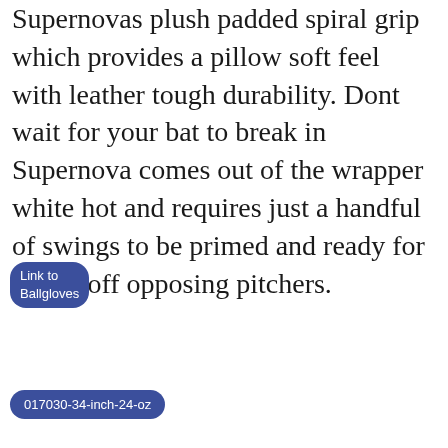Supernovas plush padded spiral grip which provides a pillow soft feel with leather tough durability. Dont wait for your bat to break in Supernova comes out of the wrapper white hot and requires just a handful of swings to be primed and ready for teeing off opposing pitchers.
Link to Ballgloves
017030-34-inch-24-oz